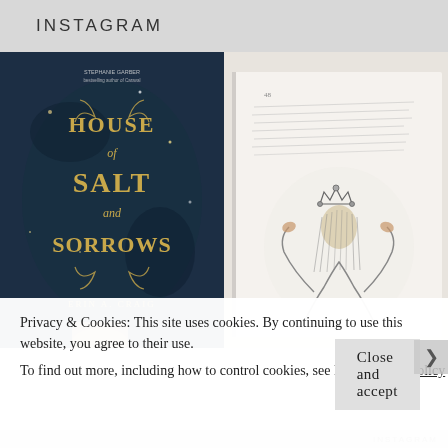INSTAGRAM
[Figure (photo): Two-photo Instagram collage: left photo shows a hand holding the book 'House of Salt and Sorrows' by Erin A. Craig with a dark blue ornate cover; right photo shows an open book page with an illustration of a figure wearing a crown.]
Privacy & Cookies: This site uses cookies. By continuing to use this website, you agree to their use.
To find out more, including how to control cookies, see here: Cookie Policy
Close and accept